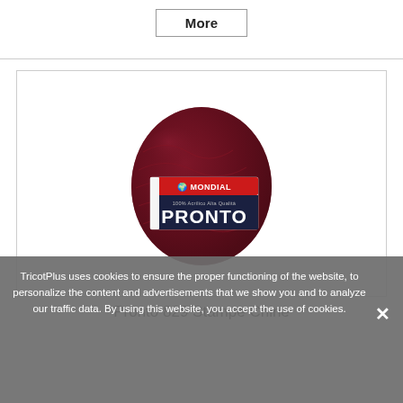More
[Figure (photo): A ball of dark burgundy/wine-colored yarn with a Mondial Pronto label. The label shows the brand name MONDIAL in red at the top, and PRONTO in large white letters on a dark navy background.]
Pronto 829 Stampe Chinè
TricotPlus uses cookies to ensure the proper functioning of the website, to personalize the content and advertisements that we show you and to analyze our traffic data. By using this website, you accept the use of cookies.